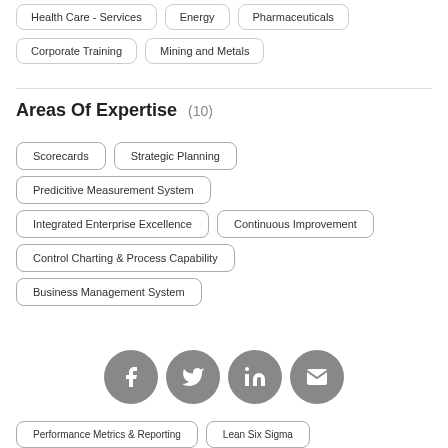Health Care - Services
Energy
Pharmaceuticals
Corporate Training
Mining and Metals
Areas Of Expertise (10)
Scorecards
Strategic Planning
Predicitive Measurement System
Integrated Enterprise Excellence
Continuous Improvement
Control Charting & Process Capability
Business Management System
Performance Metrics & Reporting
Lean Six Sigma